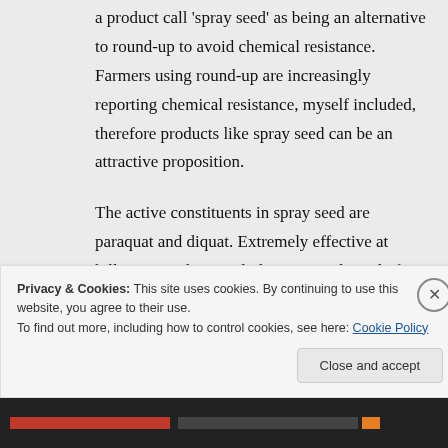a product call 'spray seed' as being an alternative to round-up to avoid chemical resistance. Farmers using round-up are increasingly reporting chemical resistance, myself included, therefore products like spray seed can be an attractive proposition.
The active constituents in spray seed are paraquat and diquat. Extremely effective at killing everything including you and I and of course that which is living in the soil. So I
Privacy & Cookies: This site uses cookies. By continuing to use this website, you agree to their use.
To find out more, including how to control cookies, see here: Cookie Policy